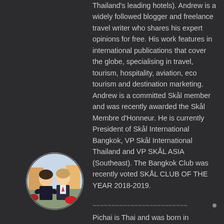Thailand's leading hotels). Andrew is a widely followed blogger and freelance travel writer who shares his expert opinions for free. His work features in international publications that cover the globe, specialising in travel, tourism, hospitality, aviation, eco tourism and destination marketing. Andrew is a committed Skål member and was recently awarded the Skål Membre d'Honneur. He is currently President of Skål International Bangkok, VP Skål International Thailand and VP SKÅL ASIA (Southeast). The Bangkok Club was recently voted SKÅL CLUB OF THE YEAR 2018-2019.
[Figure (illustration): Circular avatar image showing two cartoon/bitmoji-style characters in formal wear]
~~~~~~~~~~~~~~~~~~~~~~~~~ •
Pichai is Thai and was born in